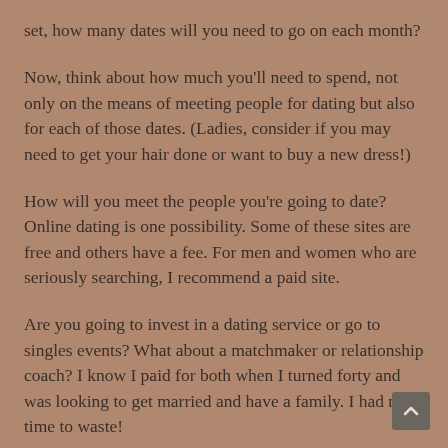set, how many dates will you need to go on each month?
Now, think about how much you'll need to spend, not only on the means of meeting people for dating but also for each of those dates. (Ladies, consider if you may need to get your hair done or want to buy a new dress!)
How will you meet the people you're going to date? Online dating is one possibility. Some of these sites are free and others have a fee. For men and women who are seriously searching, I recommend a paid site.
Are you going to invest in a dating service or go to singles events? What about a matchmaker or relationship coach? I know I paid for both when I turned forty and was looking to get married and have a family. I had no time to waste!
It's by asking yourself questions like this (or working with someone who knows the right questions to ask) that you can set